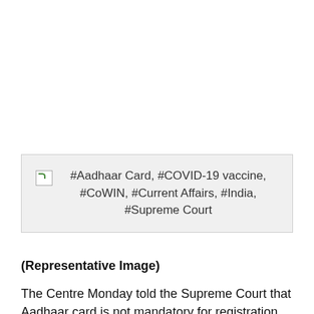[Figure (other): Broken image placeholder with alt text: #Aadhaar Card, #COVID-19 vaccine, #CoWIN, #Current Affairs, #India, #Supreme Court]
(Representative Image)
The Centre Monday told the Supreme Court that Aadhaar card is not mandatory for registration on CoWIN portal for COVID-19